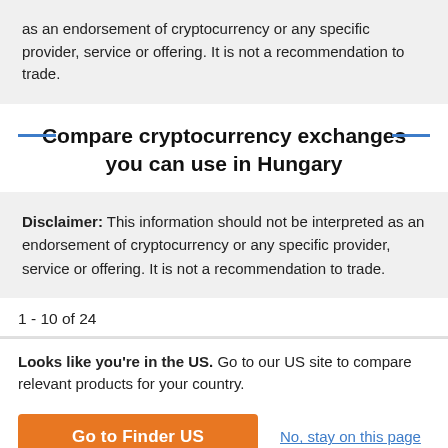as an endorsement of cryptocurrency or any specific provider, service or offering. It is not a recommendation to trade.
Compare cryptocurrency exchanges you can use in Hungary
Disclaimer: This information should not be interpreted as an endorsement of cryptocurrency or any specific provider, service or offering. It is not a recommendation to trade.
1 - 10 of 24
Looks like you're in the US. Go to our US site to compare relevant products for your country.
Go to Finder US
No, stay on this page